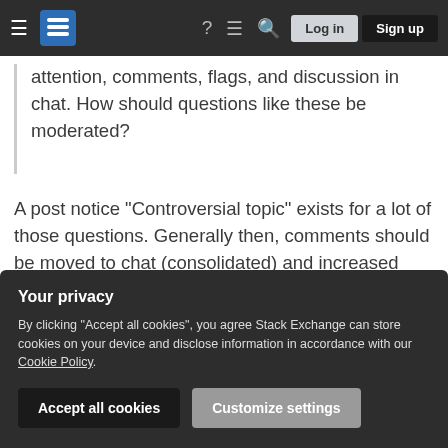Stack Exchange navigation bar with hamburger menu, logo, help, chat, search icons, Log in and Sign up buttons
attention, comments, flags, and discussion in chat. How should questions like these be moderated?
A post notice "Controversial topic" exists for a lot of those questions. Generally then, comments should be moved to chat (consolidated) and increased attention should be paid to keeping unnecessary comments off. I disagree with blanket forbidding all commenting on such questions, but the chatty ones should be moved to chat and further chatty ones
Your privacy
By clicking "Accept all cookies", you agree Stack Exchange can store cookies on your device and disclose information in accordance with our Cookie Policy.
Accept all cookies
Customize settings
genuineness of a question. The best way to handle